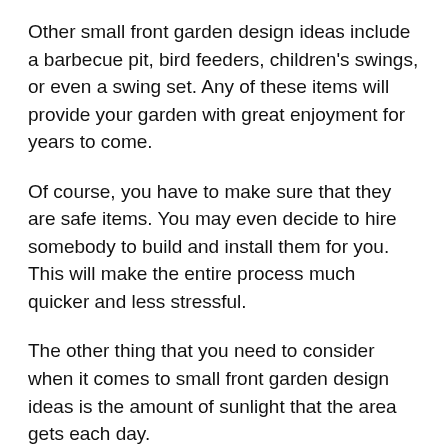Other small front garden design ideas include a barbecue pit, bird feeders, children's swings, or even a swing set. Any of these items will provide your garden with great enjoyment for years to come.
Of course, you have to make sure that they are safe items. You may even decide to hire somebody to build and install them for you. This will make the entire process much quicker and less stressful.
The other thing that you need to consider when it comes to small front garden design ideas is the amount of sunlight that the area gets each day.
This is something that many people do not think about. If you place a structure or object in a place that receives too little sunlight it can become very uncomfortable. This can cause you to be more irritable and this could lead to